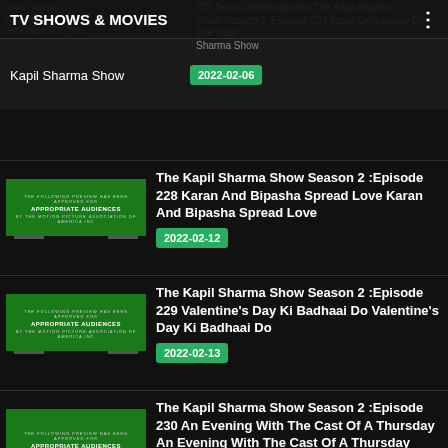TV SHOWS & MOVIES
Kapil Sharma Show  2022-02-06
The Kapil Sharma Show Season 2 :Episode 228 Karan And Bipasha Spread Love Karan And Bipasha Spread Love  2022-02-12
The Kapil Sharma Show Season 2 :Episode 229 Valentine's Day Ki Badhaai Do Valentine's Day Ki Badhaai Do  2022-02-13
The Kapil Sharma Show Season 2 :Episode 230 An Evening With The Cast Of A Thursday An Evening With The Cast Of A Thursday  2022-02-19
The Kapil Sharma Show Season 2 :Episode 231 The Fame Game On The Show The Fame